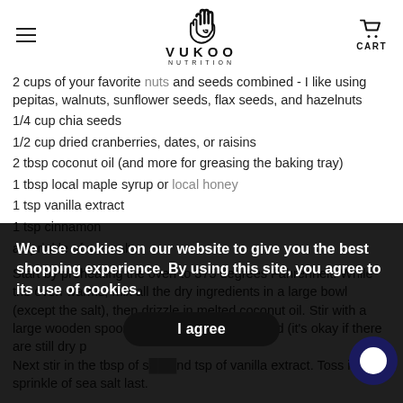VUKOO NUTRITION — with hamburger menu and cart
2 cups of your favorite nuts and seeds combined - I like using pepitas, walnuts, sunflower seeds, flax seeds, and hazelnuts
1/4 cup chia seeds
1/2 cup dried cranberries, dates, or raisins
2 tbsp coconut oil (and more for greasing the baking tray)
1 tbsp local maple syrup or local honey
1 tsp vanilla extract
1 tsp cinnamon
a sprinkle of sea salt
Start by preheating the oven to 375 degrees Fahrenheit. While the oven warms, mix all the dry ingredients in a large bowl (except the salt), then drizzle in melted coconut oil. Stir with a large wooden spoon to coat oats with the liquid (it's okay if there are still dry p… Next stir in the tbsp of s… nd tsp of vanilla extract. Toss in the sprinkle of sea salt last.
We use cookies on our website to give you the best shopping experience. By using this site, you agree to its use of cookies.